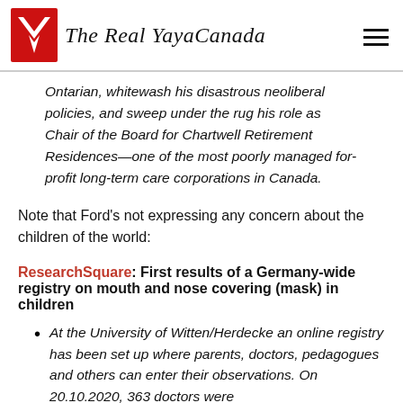The Real YayaCanada
Ontarian, whitewash his disastrous neoliberal policies, and sweep under the rug his role as Chair of the Board for Chartwell Retirement Residences—one of the most poorly managed for-profit long-term care corporations in Canada.
Note that Ford's not expressing any concern about the children of the world:
ResearchSquare: First results of a Germany-wide registry on mouth and nose covering (mask) in children
At the University of Witten/Herdecke an online registry has been set up where parents, doctors, pedagogues and others can enter their observations. On 20.10.2020, 363 doctors were